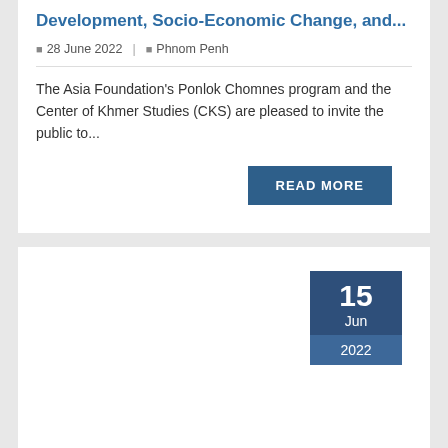Development, Socio-Economic Change, and...
28 June 2022  |  Phnom Penh
The Asia Foundation's Ponlok Chomnes program and the Center of Khmer Studies (CKS) are pleased to invite the public to...
READ MORE
[Figure (other): Date badge showing 15 Jun 2022 in a dark blue box]